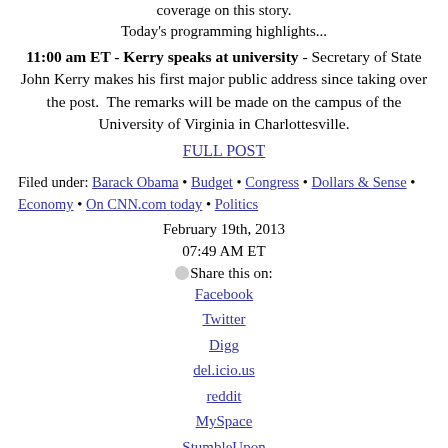coverage on this story.
Today's programming highlights...
11:00 am ET - Kerry speaks at university - Secretary of State John Kerry makes his first major public address since taking over the post.  The remarks will be made on the campus of the University of Virginia in Charlottesville.
FULL POST
Filed under: Barack Obama • Budget • Congress • Dollars & Sense • Economy • On CNN.com today • Politics
February 19th, 2013
07:49 AM ET
Share this on:
Facebook
Twitter
Digg
del.icio.us
reddit
MySpace
StumbleUpon
Comments (11 comments)